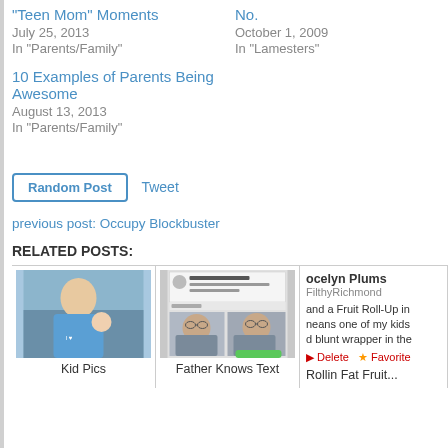"Teen Mom" Moments
July 25, 2013
In "Parents/Family"

10 Examples of Parents Being Awesome
August 13, 2013
In "Parents/Family"
No.
October 1, 2009
In "Lamesters"
Random Post   Tweet
previous post: Occupy Blockbuster
RELATED POSTS:
[Figure (photo): Related posts row with three cards: 'Kid Pics' showing a teen holding a baby, 'Father Knows Text' showing a Facebook screenshot with two selfies of a man with glasses, and a partial Twitter card for 'Rollin Fat Fruit' by ocelyn Plums / FilthyRichmond with text about a Fruit Roll-Up and kids.]